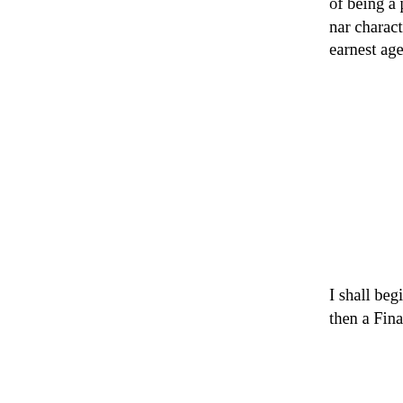of being a pursuer of value. I want to question wh general a capacity as agency cannot entail so nar characterized, not the generic agent, but a particu agent, at that. It has characterized the earnest age refractory, silly, satanic, or punk. I hope for a mo
I shall begin by examining why some philosopher actions involve judgments of value. I shall then a Finally, I shall argue that practical reason should
One source of the view that intentional actions ar psychologists to reconcile two seemingly incompa might be called the story of motivation and the st
The story of motivation says that an action is cau action will promote it. The agent wants to know t will result in his knowing the time; and he conse this story are conceived as propositional attitudes. and being somehow disposed toward a propositio know the time' and credent toward the propositio time'. These attitudes combine to cause a new att